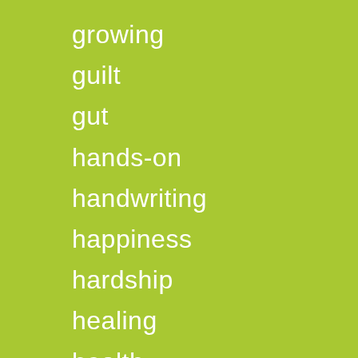growing
guilt
gut
hands-on
handwriting
happiness
hardship
healing
health